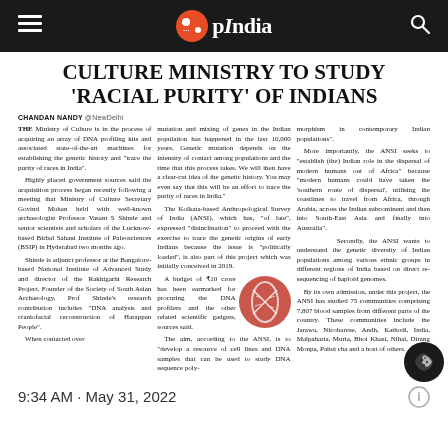OpIndia
CULTURE MINISTRY TO STUDY 'RACIAL PURITY' OF INDIANS
CHANDAN NANDY @NewDelhi
THE Ministry of Culture is in the process of acquiring an array of DNA profiling kits and associated state-of-the-art machines for establishing the genetic history and "trace the purity of races in India".
Highly placed government sources said the acquisition process began recently following a meeting that Ministry of Culture Secretary Govind Mohan held with well-known archaeologist Professor Vasant S Shinde and senior scientists and scholars of the Lucknow-based Birbal Sahani Institute of Paleosciences (BSIP) in Hyderabad two months ago.
Shinde is adjunct professor at the Bangalore-based National Institute of Advanced Study and director of the Rakhigarhi Research Project. Founder of the Society of South Asian Archaeology, Prof Shinde's research contribution includes "DNA analysis and craniofacial reconstruction of Harappan People".
When contacted over
mutation and mixing of genes in the Indian population has happened in the last 10,000 years. Genetic mutation depends on the intensity of contact among populations and the time that this process takes. We will then have a clear-cut idea of the genetic history. You may even say that this will be an effort to trace the purity of races in India."
The Kolkata-based Anthropological Survey of India (ANSI), which has, "of late", expressed "disinclination" to proceed with the exercise to trace the genetic origins of early Indians because the issue is "politically loaded", is also part of this project which was initially conceived in 2019.
A budget of ₹10 crore has been earmarked for procuring the DNA profilers and the other related scientific gadgets, sources said.
The aim, according to the ANSI, is to "develop a resource of cell lines and DNA samples that can be used to study DNA sequence poly-
morphism in contemporary Indian populations".
More importantly, the ANSI seeks to "establish (the) Indian role in the dispersal of modern humans out of Africa" because "modern humans could have taken the 'southern route of dispersal', utilising the coastlines to travel from Africa, through Arabia, across the Indian subcontinent and then into South-East Asia and finally into Australia".
Secondly, the ANSI wants to understand the genetic diversity of Indian populations among various ethnic groups in different regions of India based on direct re-sequencing of haploid genomes.
By its own admission, under this project, the ANSI has studied 75 communities comprising 7,807 blood samples from different parts of the country. These communities include the Jarawa, Nicobarese, Andh, Kathodi, India, Malpaharia, Muria, Bhoi Khasi, Nihal, Dirang Monpa, Paite, Cha and a host of others.
9:34 AM · May 31, 2022